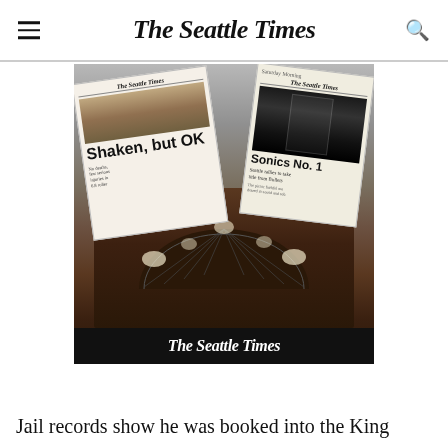The Seattle Times
[Figure (photo): Composite image showing two Seattle Times newspaper front pages overlaid on an aerial photograph of the Kingdome stadium being demolished, with a black bar at the bottom showing The Seattle Times logo in white. The newspapers show headlines 'Shaken, but OK' and 'Sonics No. 1 Seattle rallies to take title from Bullets'.]
Jail records show he was booked into the King